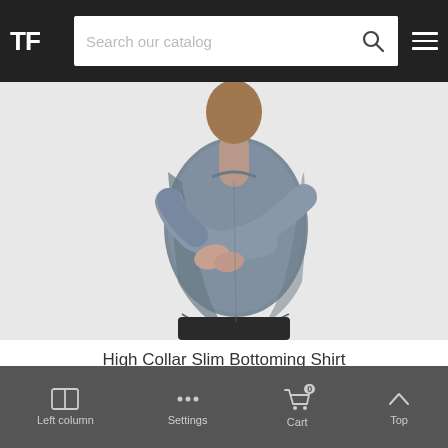TF — Search our catalog
[Figure (photo): A person wearing a gray high collar slim bottoming shirt, shown from the side/back, arms crossed over torso, with dark pants.]
High Collar Slim Bottoming Shirt
$68.99
Left column  Settings  Cart 0  Top